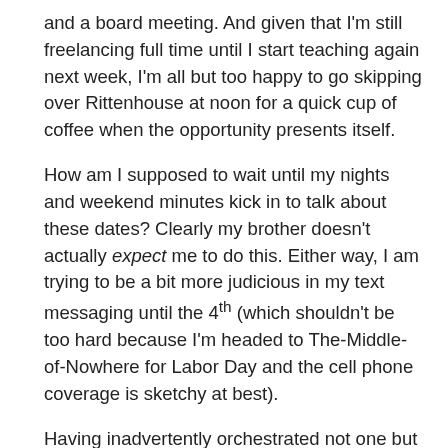and a board meeting.  And given that I'm still freelancing full time until I start teaching again next week, I'm all but too happy to go skipping over Rittenhouse at noon for a quick cup of coffee when the opportunity presents itself.
How am I supposed to wait until my nights and weekend minutes kick in to talk about these dates?  Clearly my brother doesn't actually expect me to do this.  Either way, I am trying to be a bit more judicious in my text messaging until the 4th (which shouldn't be too hard because I'm headed to The-Middle-of-Nowhere for Labor Day and the cell phone coverage is sketchy at best).
Having inadvertently orchestrated not one but two break ups from The-Middle-of-Nowhere (one back in 2004 and another in 2008), I know from experience that calls made from Hoopers Island tend to drop